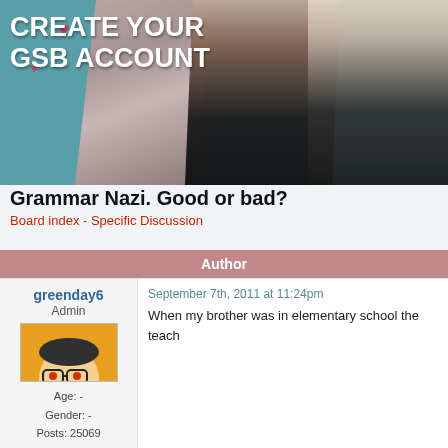[Figure (photo): Banner image with teal background showing 'CREATE YOUR GSB ACCOUNT' text and photos of band members (Green Day)]
Grammar Nazi. Good or bad?
Board index - Specific Discussion
| Author |
| --- |
greenday6
Admin
Age: -
Gender: -
Posts: 25069
September 7th, 2011 at 11:24pm
When my brother was in elementary school the teach